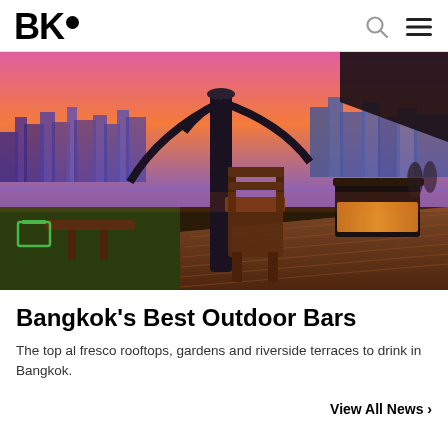BK•
[Figure (photo): Rooftop bar at sunset with wooden deck furniture, chairs and tables, glowing bar counter, and Bangkok city skyline with purple and pink sky in the background]
Bangkok's Best Outdoor Bars
The top al fresco rooftops, gardens and riverside terraces to drink in Bangkok.
View All News >